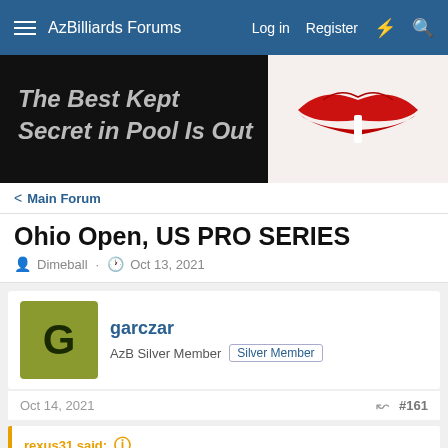AzBilliards Forums  Log in  Register
[Figure (photo): Dark banner with text 'The Best Kept Secret in Pool Is Out' and a photo of red lips on right side]
< Main Forum
Ohio Open, US PRO SERIES
Dimeball · Oct 13, 2021
garczar
AzB Silver Member  Silver Member
Oct 14, 2021  #161
rexus31 said: ↑
JJ just confirmed what I've been saying: the format is designed to give lessor players the chance to win. I personally feel it gives them an advantage; open for debate, I know. I still question why do "dogs" have to have a chance? I'd rather see a winner break, long race event with the top 32 players in the world (with a singular ranking system: